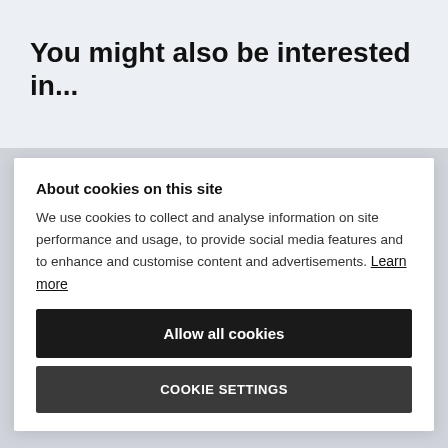You might also be interested in...
About cookies on this site
We use cookies to collect and analyse information on site performance and usage, to provide social media features and to enhance and customise content and advertisements. Learn more
Allow all cookies
COOKIE SETTINGS